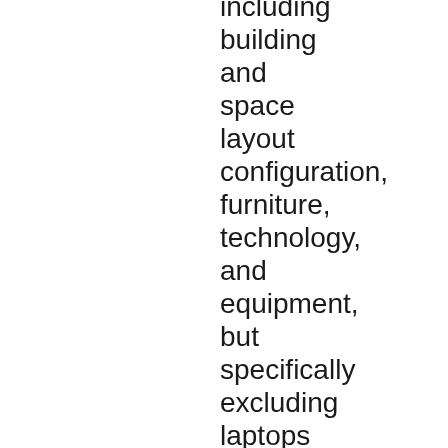including building and space layout configuration, furniture, technology, and equipment, but specifically excluding laptops and tablets, to allow for student collaboration, teamwork, and